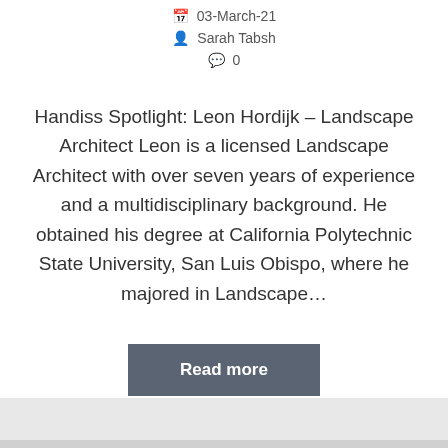03-March-21
Sarah Tabsh
0
Handiss Spotlight: Leon Hordijk – Landscape Architect Leon is a licensed Landscape Architect with over seven years of experience and a multidisciplinary background. He obtained his degree at California Polytechnic State University, San Luis Obispo, where he majored in Landscape...
Read more